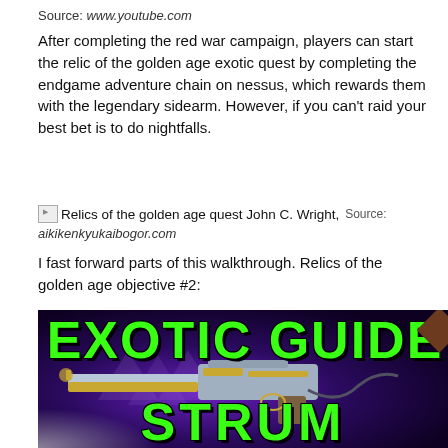Source: www.youtube.com
After completing the red war campaign, players can start the relic of the golden age exotic quest by completing the endgame adventure chain on nessus, which rewards them with the legendary sidearm. However, if you can't raid your best bet is to do nightfalls.
[Figure (illustration): Broken image icon followed by text: Relics of the golden age quest John C. Wright, Source: aikikenkyukaibogor.com]
I fast forward parts of this walkthrough. Relics of the golden age objective #2:
[Figure (screenshot): Game promotional image with black background, showing a sci-fi sidearm weapon (Sturm exotic) with gold and silver details, purple glowing background with ghost-like shapes. Large green bold text reads EXOTIC GUIDE at top and STRUM at bottom.]